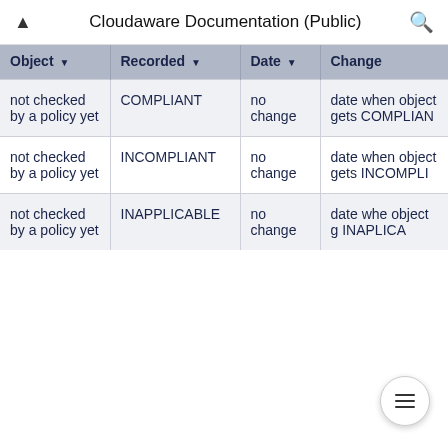Cloudaware Documentation (Public)
| Object | Recorded | Date | Change |
| --- | --- | --- | --- |
| not checked by a policy yet | COMPLIANT | no change | date when object gets COMPLIANT |
| not checked by a policy yet | INCOMPLIANT | no change | date when object gets INCOMPLIANT |
| not checked by a policy yet | INAPPLICABLE | no change | date when object gets INAPPLICABLE |